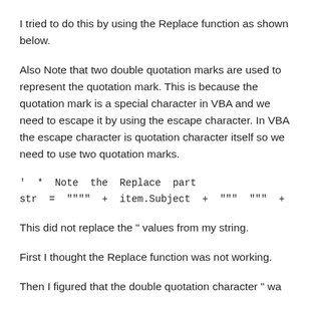I tried to do this by using the Replace function as shown below.
Also Note that two double quotation marks are used to represent the quotation mark. This is because the quotation mark is a special character in VBA and we need to escape it by using the escape character. In VBA the escape character is quotation character itself so we need to use two quotation marks.
' * Note the Replace part
str = """" + item.Subject + """ """ + ite
This did not replace the " values from my string.
First I thought the Replace function was not working.
Then I figured that the double quotation character " wa